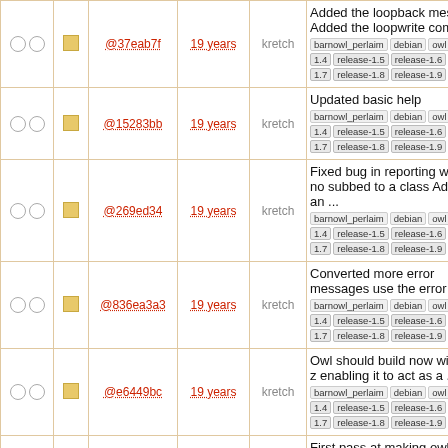|  |  | hash | age | author | description |
| --- | --- | --- | --- | --- | --- |
| ○ ○ | ▪ | @37eab7f | 19 years | kretch | Added the loopback message Added the loopwrite command | barnowl_perlaim debian owl re | 1.4 release-1.5 release-1.6 relea | 1.7 release-1.8 release-1.9 |
| ○ ○ | ▪ | @15283bb | 19 years | kretch | Updated basic help | barnowl_perlaim debian owl re | 1.4 release-1.5 release-1.6 relea | 1.7 release-1.8 release-1.9 |
| ○ ○ | ▪ | @269ed34 | 19 years | kretch | Fixed bug in reporting when no subbed to a class Added an ... | barnowl_perlaim debian owl re | 1.4 release-1.5 release-1.6 relea | 1.7 release-1.8 release-1.9 |
| ○ ○ | ▪ | @836ea3a3 | 19 years | kretch | Converted more error messages use the error queue | barnowl_perlaim debian owl re | 1.4 release-1.5 release-1.6 relea | 1.7 release-1.8 release-1.9 |
| ○ ○ | ▪ | @e6449bc | 19 years | kretch | Owl should build now without z enabling it to act as a ... | barnowl_perlaim debian owl re | 1.4 release-1.5 release-1.6 relea | 1.7 release-1.8 release-1.9 |
| ○ ○ | ▪ | @09489b89 | 19 years | kretch | First pass at making owl build without zephyr | barnowl_perlaim debian owl re | 1.4 release-1.5 release-1.6 relea | 1.7 release-1.8 release-1.9 |
| ○ ○ | ▪ | @723c427 | 19 years | kretch | another logging fix | barnowl_perlaim debian owl re | 1.4 release-1.5 release-1.6 relea | 1.7 release-1.8 release-1.9 |